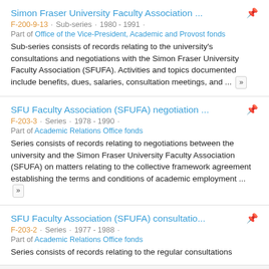Simon Fraser University Faculty Association ...
F-200-9-13 · Sub-series · 1980 - 1991 · Part of Office of the Vice-President, Academic and Provost fonds. Sub-series consists of records relating to the university's consultations and negotiations with the Simon Fraser University Faculty Association (SFUFA). Activities and topics documented include benefits, dues, salaries, consultation meetings, and ...
SFU Faculty Association (SFUFA) negotiation ...
F-203-3 · Series · 1978 - 1990 · Part of Academic Relations Office fonds. Series consists of records relating to negotiations between the university and the Simon Fraser University Faculty Association (SFUFA) on matters relating to the collective framework agreement establishing the terms and conditions of academic employment ...
SFU Faculty Association (SFUFA) consultatio...
F-203-2 · Series · 1977 - 1988 · Part of Academic Relations Office fonds. Series consists of records relating to the regular consultations